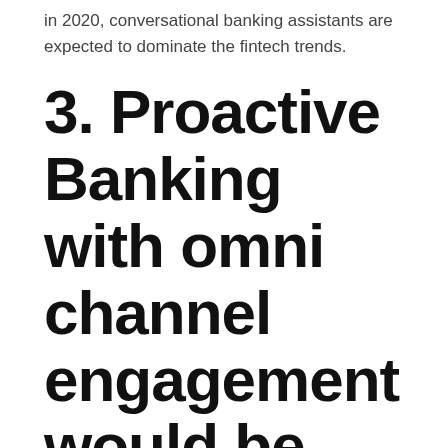in 2020, conversational banking assistants are expected to dominate the fintech trends.
3. Proactive Banking with omni channel engagement would be popular
For long, traditional banks and financial institutions have followed a reactive approach. However, to go the